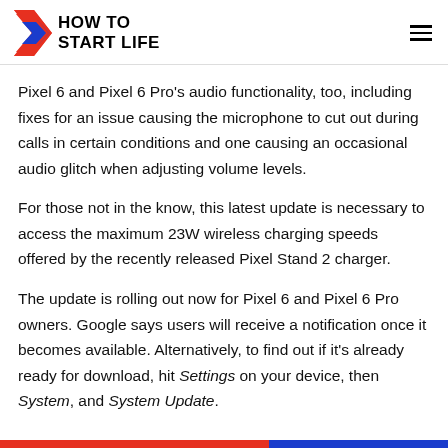HOW TO START LIFE
Pixel 6 and Pixel 6 Pro's audio functionality, too, including fixes for an issue causing the microphone to cut out during calls in certain conditions and one causing an occasional audio glitch when adjusting volume levels.
For those not in the know, this latest update is necessary to access the maximum 23W wireless charging speeds offered by the recently released Pixel Stand 2 charger.
The update is rolling out now for Pixel 6 and Pixel 6 Pro owners. Google says users will receive a notification once it becomes available. Alternatively, to find out if it's already ready for download, hit Settings on your device, then System, and System Update.